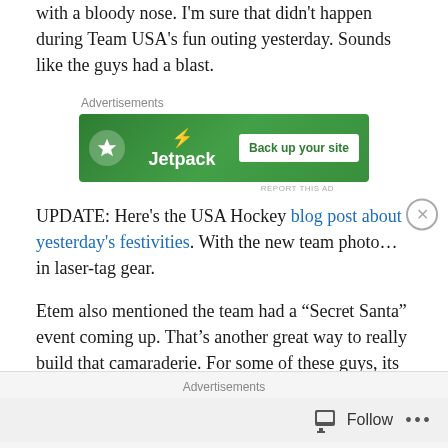with a bloody nose. I'm sure that didn't happen during Team USA's fun outing yesterday. Sounds like the guys had a blast.
[Figure (other): Jetpack advertisement banner with green background, lightning bolt icon, Jetpack wordmark, and 'Back up your site' button]
UPDATE: Here's the USA Hockey blog post about yesterday's festivities. With the new team photo… in laser-tag gear.
Etem also mentioned the team had a “Secret Santa” event coming up. That’s another great way to really build that camaraderie. For some of these guys, its the first time
Advertisements  Follow  ...